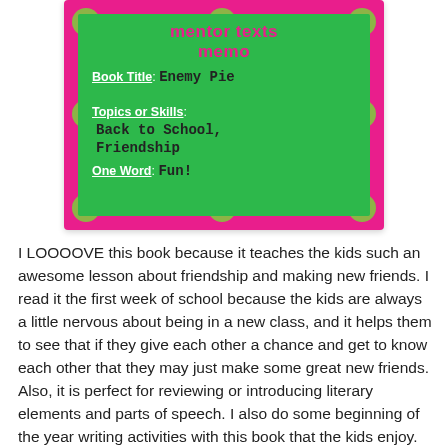[Figure (illustration): A colorful memo card with a pink polka dot border and green interior. Shows title 'mentor texts memo', Book Title: Enemy Pie, Topics or Skills: Back to School, Friendship, One Word: Fun!]
I LOOOOVE this book because it teaches the kids such an awesome lesson about friendship and making new friends. I read it the first week of school because the kids are always a little nervous about being in a new class, and it helps them to see that if they give each other a chance and get to know each other that they may just make some great new friends. Also, it is perfect for reviewing or introducing literary elements and parts of speech. I also do some beginning of the year writing activities with this book that the kids enjoy. But, my favorite activity is creating our own "friendship pie."